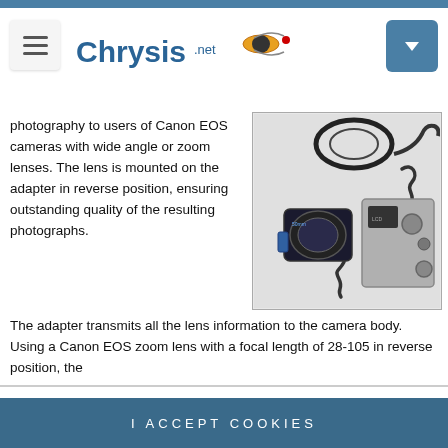Chrysis.net
photography to users of Canon EOS cameras with wide angle or zoom lenses. The lens is mounted on the adapter in reverse position, ensuring outstanding quality of the resulting photographs.
[Figure (photo): Photograph of a camera macro photography adapter system showing a ring flash adapter, coiled cable, reversed lens, and Canon EOS camera body.]
The adapter transmits all the lens information to the camera body. Using a Canon EOS zoom lens with a focal length of 28-105 in reverse position, the
We respect your privacy and, according to the General regulation for the protection of personal data No. 2016/679 (General Data Protection Regulation or GDPR), your data will not be collected, distributed or used without your permission. More details
I ACCEPT COOKIES